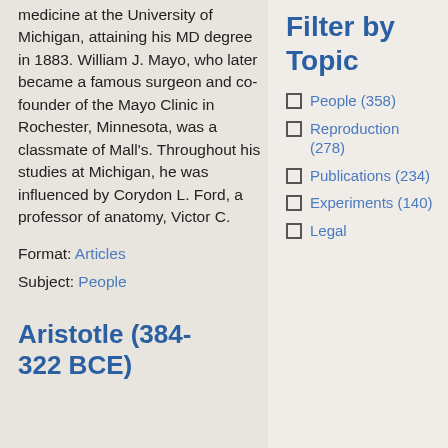medicine at the University of Michigan, attaining his MD degree in 1883. William J. Mayo, who later became a famous surgeon and co-founder of the Mayo Clinic in Rochester, Minnesota, was a classmate of Mall's. Throughout his studies at Michigan, he was influenced by Corydon L. Ford, a professor of anatomy, Victor C.
Format: Articles
Subject: People
Aristotle (384-322 BCE)
Filter by Topic
People (358)
Reproduction (278)
Publications (234)
Experiments (140)
Legal